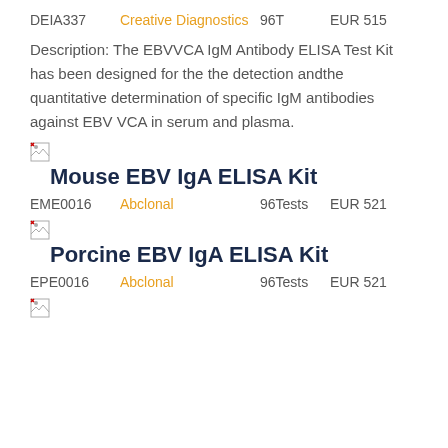DEIA337   Creative Diagnostics   96T   EUR 515
Description: The EBVVCA IgM Antibody ELISA Test Kit has been designed for the the detection andthe quantitative determination of specific IgM antibodies against EBV VCA in serum and plasma.
[Figure (other): Broken image icon]
Mouse EBV IgA ELISA Kit
EME0016   Abclonal   96Tests   EUR 521
[Figure (other): Broken image icon]
Porcine EBV IgA ELISA Kit
EPE0016   Abclonal   96Tests   EUR 521
[Figure (other): Broken image icon]